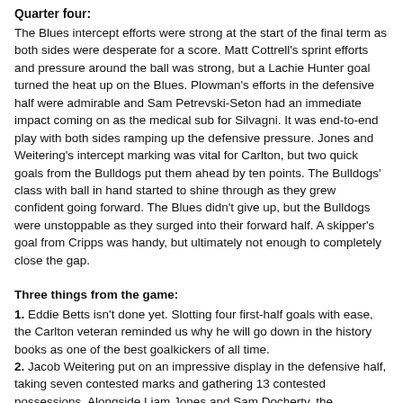Quarter four:
The Blues intercept efforts were strong at the start of the final term as both sides were desperate for a score. Matt Cottrell's sprint efforts and pressure around the ball was strong, but a Lachie Hunter goal turned the heat up on the Blues. Plowman's efforts in the defensive half were admirable and Sam Petrevski-Seton had an immediate impact coming on as the medical sub for Silvagni. It was end-to-end play with both sides ramping up the defensive pressure. Jones and Weitering's intercept marking was vital for Carlton, but two quick goals from the Bulldogs put them ahead by ten points. The Bulldogs' class with ball in hand started to shine through as they grew confident going forward. The Blues didn't give up, but the Bulldogs were unstoppable as they surged into their forward half. A skipper's goal from Cripps was handy, but ultimately not enough to completely close the gap.
Three things from the game:
1. Eddie Betts isn't done yet. Slotting four first-half goals with ease, the Carlton veteran reminded us why he will go down in the history books as one of the best goalkickers of all time.
2. Jacob Weitering put on an impressive display in the defensive half, taking seven contested marks and gathering 13 contested possessions. Alongside Liam Jones and Sam Docherty, the defenders contested effort on the ground and aerially was a highlight of the game.
3. Matt Owies is looking comfortable at the AFL level. With two goals, five score involvements and plenty of pressure at both ends of the ground, Owies was a pivotal part of Carlton's game.
Guess who's back? Eddie's back.